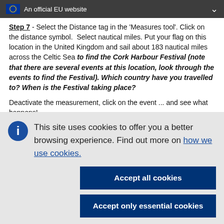An official EU website
Step 7 - Select the Distance tag in the 'Measures tool'. Click on the distance symbol.  Select nautical miles. Put your flag on this location in the United Kingdom and sail about 183 nautical miles across the Celtic Sea to find the Cork Harbour Festival (note that there are several events at this location, look through the events to find the Festival). Which country have you travelled to? When is the Festival taking place?
Deactivate the measurement, click on the event ... and see what happens!
This site uses cookies to offer you a better browsing experience. Find out more on how we use cookies.